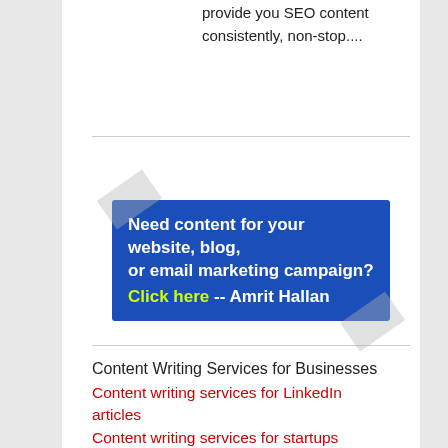provide you SEO content consistently, non-stop....
[Figure (other): Blue advertisement banner with tape corners. Text reads: 'Need content for your website, blog, or email marketing campaign? Click here -- Amrit Hallan'. 'Click here' is in yellow-green color, rest in white on blue background.]
Content Writing Services for Businesses
Content writing services for LinkedIn articles
Content writing services for startups
What is a blog writing service and how can it